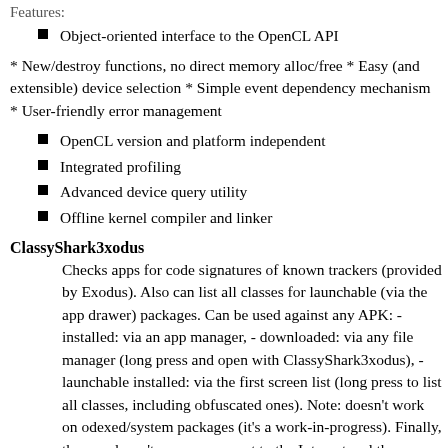Features:
Object-oriented interface to the OpenCL API
* New/destroy functions, no direct memory alloc/free * Easy (and extensible) device selection * Simple event dependency mechanism * User-friendly error management
OpenCL version and platform independent
Integrated profiling
Advanced device query utility
Offline kernel compiler and linker
ClassyShark3xodus
Checks apps for code signatures of known trackers (provided by Exodus). Also can list all classes for launchable (via the app drawer) packages. Can be used against any APK: - installed: via an app manager, - downloaded: via any file manager (long press and open with ClassyShark3xodus), - launchable installed: via the first screen list (long press to list all classes, including obfuscated ones). Note: doesn't work on odexed/system packages (it's a work-in-progress). Finally, the app doesn't sync or connect to the Internet and thus cannot sneak on end users. The app is updated when Exodus updates their list of trackers: https://reports.exodus-privacy.eu.org/api/trackers ClassyShark3xodus is based on